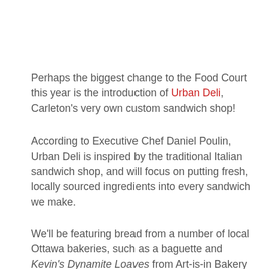Perhaps the biggest change to the Food Court this year is the introduction of Urban Deli, Carleton's very own custom sandwich shop!
According to Executive Chef Daniel Poulin, Urban Deli is inspired by the traditional Italian sandwich shop, and will focus on putting fresh, locally sourced ingredients into every sandwich we make.
We'll be featuring bread from a number of local Ottawa bakeries, such as a baguette and Kevin's Dynamite Loaves from Art-is-in Bakery near Hintonburg, and our cheese bread from the Portuguese Bakery just outside of the Byward